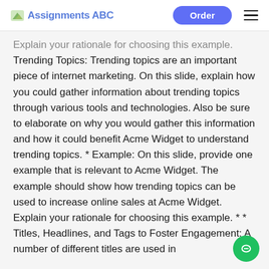Assignments ABC | Order
Explain your rationale for choosing this example. Trending Topics: Trending topics are an important piece of internet marketing. On this slide, explain how you could gather information about trending topics through various tools and technologies. Also be sure to elaborate on why you would gather this information and how it could benefit Acme Widget to understand trending topics. * Example: On this slide, provide one example that is relevant to Acme Widget. The example should show how trending topics can be used to increase online sales at Acme Widget. Explain your rationale for choosing this example. * * Titles, Headlines, and Tags to Foster Engagement: A number of different titles are used in